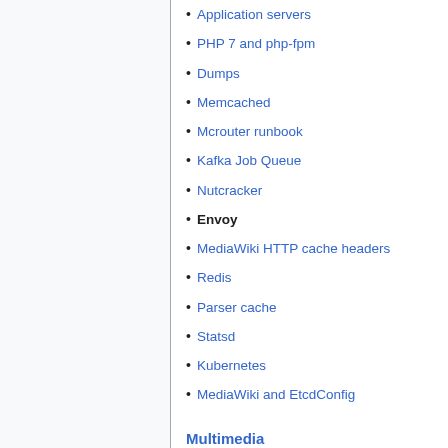Application servers
PHP 7 and php-fpm
Dumps
Memcached
Mcrouter runbook
Kafka Job Queue
Nutcracker
Envoy
MediaWiki HTTP cache headers
Redis
Parser cache
Statsd
Kubernetes
MediaWiki and EtcdConfig
Multimedia
Data Engineering
Search